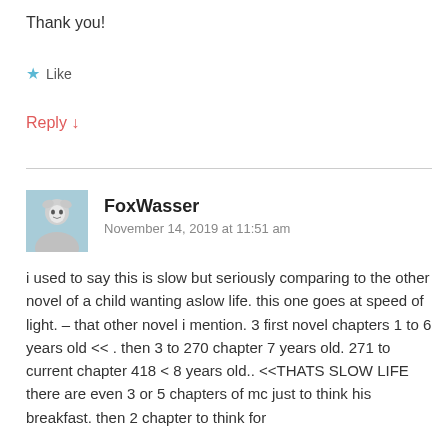Thank you!
★ Like
Reply ↓
FoxWasser
November 14, 2019 at 11:51 am
i used to say this is slow but seriously comparing to the other novel of a child wanting aslow life. this one goes at speed of light. – that other novel i mention. 3 first novel chapters 1 to 6 years old << . then 3 to 270 chapter 7 years old. 271 to current chapter 418 < 8 years old.. <<THATS SLOW LIFE there are even 3 or 5 chapters of mc just to think his breakfast. then 2 chapter to think for